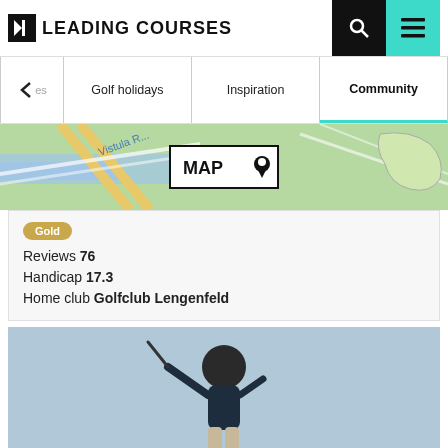[Figure (logo): Leading Courses logo with flag icon and bold uppercase text]
[Figure (screenshot): Navigation bar with back arrow, Golf holidays, Inspiration, Community (active/bold with teal underline) tabs]
[Figure (map): Green map background with roads and 'Vistula R...' text, overlaid with a MAP button with location pin icon]
Gold
Reviews 76
Handicap 17.3
Home club Golfclub Lengenfeld
[Figure (photo): Golfer in dark clothing mid-swing, blue sky background, partial crop showing torso and club]